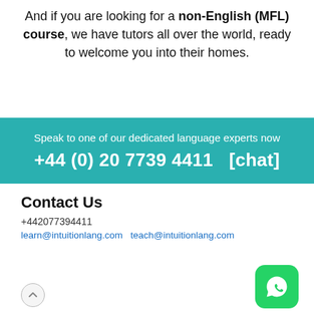And if you are looking for a non-English (MFL) course, we have tutors all over the world, ready to welcome you into their homes.
Speak to one of our dedicated language experts now
+44 (0) 20 7739 4411  [chat]
Contact Us
+442077394411
learn@intuitionlang.com  teach@intuitionlang.com